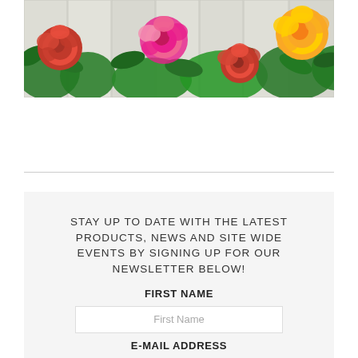[Figure (illustration): A colorful botanical illustration of roses and flowers (red, pink, yellow) with green leaves arranged on a wood-paneled background, displayed across multiple panels.]
STAY UP TO DATE WITH THE LATEST PRODUCTS, NEWS AND SITE WIDE EVENTS BY SIGNING UP FOR OUR NEWSLETTER BELOW!
FIRST NAME
First Name
E-MAIL ADDRESS